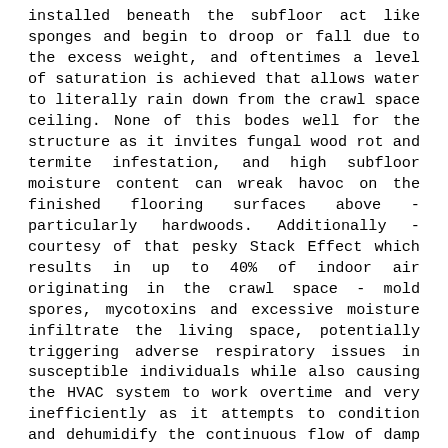installed beneath the subfloor act like sponges and begin to droop or fall due to the excess weight, and oftentimes a level of saturation is achieved that allows water to literally rain down from the crawl space ceiling. None of this bodes well for the structure as it invites fungal wood rot and termite infestation, and high subfloor moisture content can wreak havoc on the finished flooring surfaces above - particularly hardwoods. Additionally - courtesy of that pesky Stack Effect which results in up to 40% of indoor air originating in the crawl space - mold spores, mycotoxins and excessive moisture infiltrate the living space, potentially triggering adverse respiratory issues in susceptible individuals while also causing the HVAC system to work overtime and very inefficiently as it attempts to condition and dehumidify the continuous flow of damp air from below. Don't let your crawl space, your structure, your electric bills and your health endure another season of moisture-causing woes. And definitely do not neglect your vented crawl space and allow it to devolve to the point of the one pictured here,